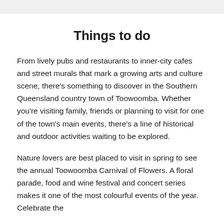Things to do
From lively pubs and restaurants to inner-city cafes and street murals that mark a growing arts and culture scene, there's something to discover in the Southern Queensland country town of Toowoomba. Whether you're visiting family, friends or planning to visit for one of the town's main events, there's a line of historical and outdoor activities waiting to be explored.
Nature lovers are best placed to visit in spring to see the annual Toowoomba Carnival of Flowers. A floral parade, food and wine festival and concert series makes it one of the most colourful events of the year. Celebrate the